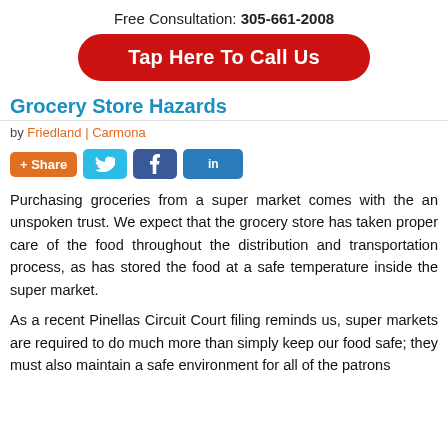Free Consultation: 305-661-2008
[Figure (other): Red rounded button: Tap Here To Call Us]
Grocery Store Hazards
by Friedland | Carmona
[Figure (other): Social share buttons: + Share, Twitter, Facebook, LinkedIn]
Purchasing groceries from a super market comes with the an unspoken trust. We expect that the grocery store has taken proper care of the food throughout the distribution and transportation process, as has stored the food at a safe temperature inside the super market.
As a recent Pinellas Circuit Court filing reminds us, super markets are required to do much more than simply keep our food safe; they must also maintain a safe environment for all of the patrons